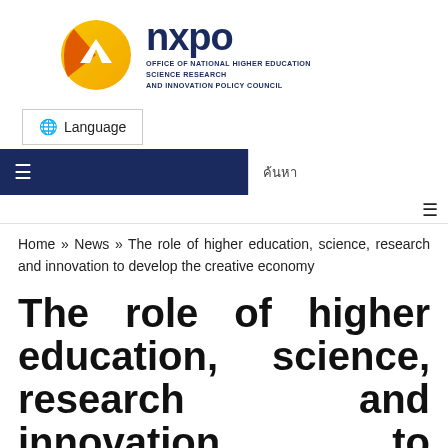[Figure (logo): NXPO logo: circular orange/yellow gradient icon with white arrow, next to dark navy 'nxpo' text and subtitle 'Office of National Higher Education Science Research and Innovation Policy Council']
Language
≡   ค้นหา
≡
Home » News » The role of higher education, science, research and innovation to develop the creative economy
The role of higher education, science, research and innovation to develop the